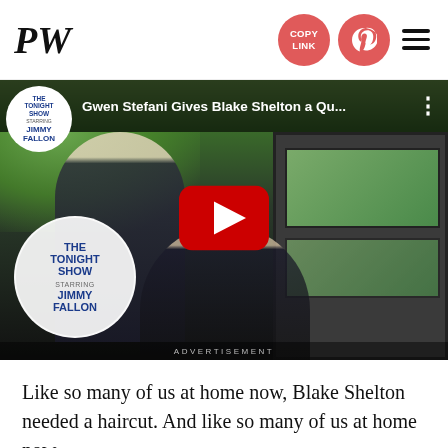PW | COPY LINK | Pinterest | Menu
[Figure (screenshot): YouTube video embed showing Gwen Stefani cutting Blake Shelton's hair. Video title: 'Gwen Stefani Gives Blake Shelton a Qu...' The Tonight Show Starring Jimmy Fallon logo visible. Red YouTube play button in center.]
ADVERTISEMENT
Like so many of us at home now, Blake Shelton needed a haircut. And like so many of us at home now, he had to turn to someone in his household to do it.